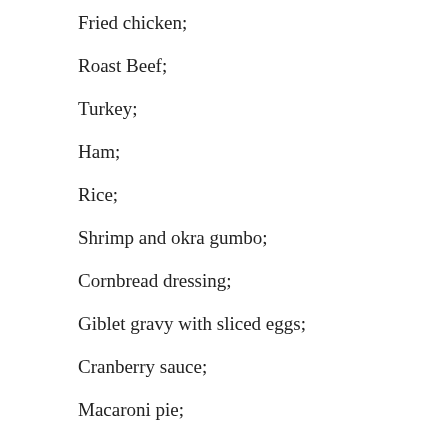Fried chicken;
Roast Beef;
Turkey;
Ham;
Rice;
Shrimp and okra gumbo;
Cornbread dressing;
Giblet gravy with sliced eggs;
Cranberry sauce;
Macaroni pie;